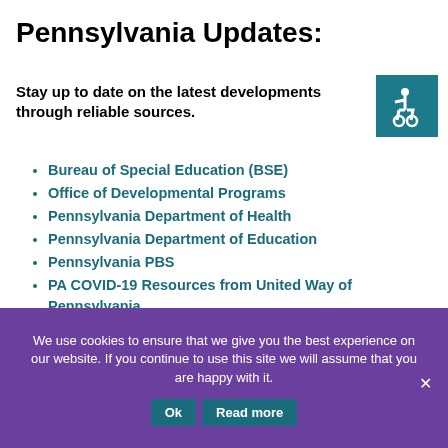Pennsylvania Updates:
Stay up to date on the latest developments through reliable sources.
[Figure (illustration): Accessibility icon: white wheelchair user symbol on teal/dark cyan background]
Bureau of Special Education (BSE)
Office of Developmental Programs
Pennsylvania Department of Health
Pennsylvania Department of Education
Pennsylvania PBS
PA COVID-19 Resources from United Way of Pennsylvania
We use cookies to ensure that we give you the best experience on our website. If you continue to use this site we will assume that you are happy with it.
Ok   Read more